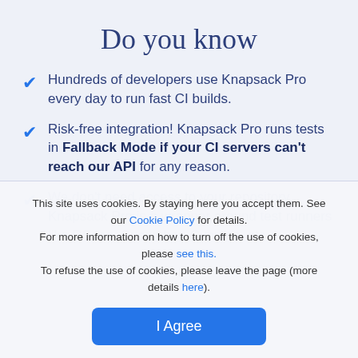Do you know
Hundreds of developers use Knapsack Pro every day to run fast CI builds.
Risk-free integration! Knapsack Pro runs tests in Fallback Mode if your CI servers can't reach our API for any reason.
We don't need access to your repository Knapsack Pro is a wrapper around test runners like RSpec, Cucumber, Cypress, etc.
This site uses cookies. By staying here you accept them. See our Cookie Policy for details. For more information on how to turn off the use of cookies, please see this. To refuse the use of cookies, please leave the page (more details here).